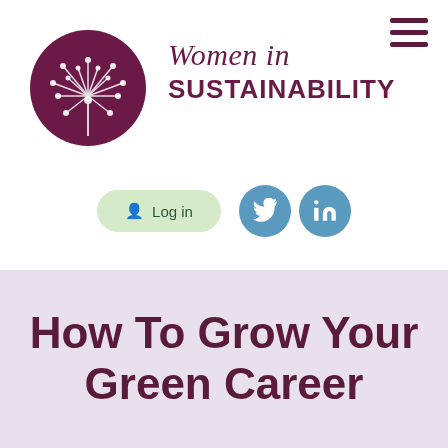[Figure (logo): Women in Sustainability logo — purple circle with white dandelion graphic, accompanied by italic 'Women in' and bold 'SUSTAINABILITY' text in purple]
Log in
[Figure (logo): Twitter and LinkedIn social media icon buttons in blue circles]
How To Grow Your Green Career